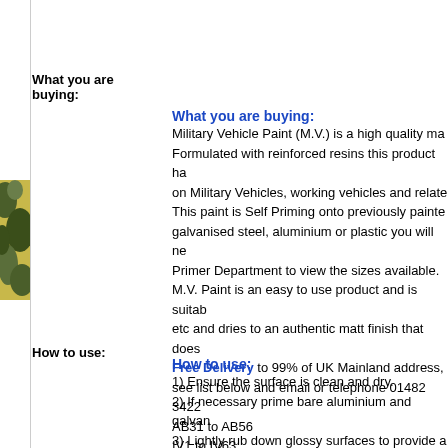What you are buying:
What you are buying:
Military Vehicle Paint (M.V.) is a high quality ma... Formulated with reinforced resins this product ha... on Military Vehicles, working vehicles and relate... This paint is Self Priming onto previously painte... galvanised steel, aluminium or plastic you will ne... Primer Department to view the sizes available. M.V. Paint is an easy to use product and is suitab... etc and dries to an authentic matt finish that does... Free Delivery to 99% of UK Mainland address,... see list below and email or telephone 01482 3422...
AB31 to AB56
IV1 to IV63
KA27 to KA28
KW1 to KW14
PA21 to PA38
PH4 to PH50
How to use:
How to use:
1) Ensure the surface is clean and dry.
2) If necessary prime bare aluminium and galvan...
3) Lightly rub down glossy surfaces to provide a...
4) Shake can for 2 minutes prior to use to ensure...
5) Apply with an even motion.
6) Nozzle tip can be rotated for both horizontal...